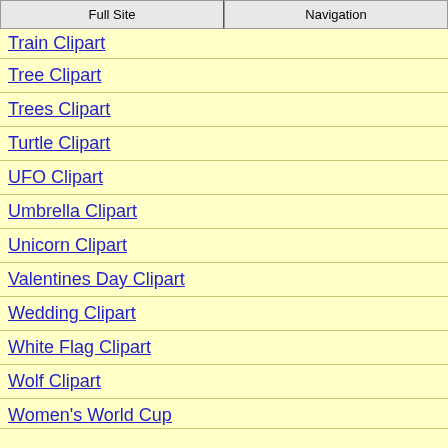Full Site | Navigation
Train Clipart
Tree Clipart
Trees Clipart
Turtle Clipart
UFO Clipart
Umbrella Clipart
Unicorn Clipart
Valentines Day Clipart
Wedding Clipart
White Flag Clipart
Wolf Clipart
Women's World Cup